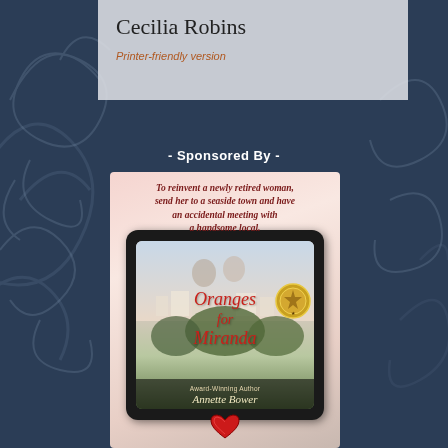Cecilia Robins
Printer-friendly version
- Sponsored By -
[Figure (illustration): Book advertisement for 'Oranges for Miranda' by Annette Bower (Award-Winning Author). Shows a tablet/e-reader displaying the book cover with a couple, a scenic town view, and the book title in red italic script. Tagline reads: 'To reinvent a newly retired woman, send her to a seaside town and have an accidental meeting with a handsome local.' A medal badge appears top right of the tablet, and a red heart icon appears at the bottom.]